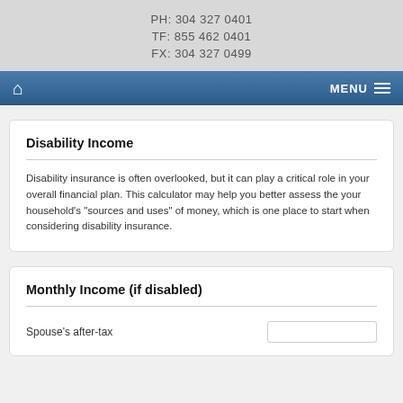PH: 304 327 0401
TF: 855 462 0401
FX: 304 327 0499
Disability Income
Disability insurance is often overlooked, but it can play a critical role in your overall financial plan. This calculator may help you better assess the your household's "sources and uses" of money, which is one place to start when considering disability insurance.
Monthly Income (if disabled)
Spouse's after-tax